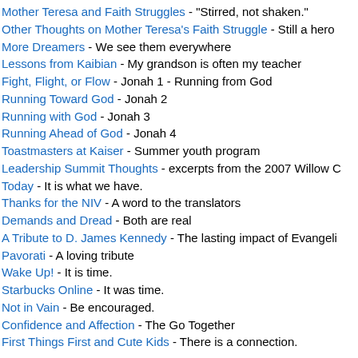Mother Teresa and Faith Struggles - "Stirred, not shaken."
Other Thoughts on Mother Teresa's Faith Struggle - Still a hero
More Dreamers - We see them everywhere
Lessons from Kaibian - My grandson is often my teacher
Fight, Flight, or Flow - Jonah 1 - Running from God
Running Toward God - Jonah 2
Running with God - Jonah 3
Running Ahead of God - Jonah 4
Toastmasters at Kaiser - Summer youth program
Leadership Summit Thoughts - excerpts from the 2007 Willow C
Today - It is what we have.
Thanks for the NIV - A word to the translators
Demands and Dread - Both are real
A Tribute to D. James Kennedy - The lasting impact of Evangeli
Pavorati - A loving tribute
Wake Up! - It is time.
Starbucks Online - It was time.
Not in Vain - Be encouraged.
Confidence and Affection - The Go Together
First Things First and Cute Kids - There is a connection.